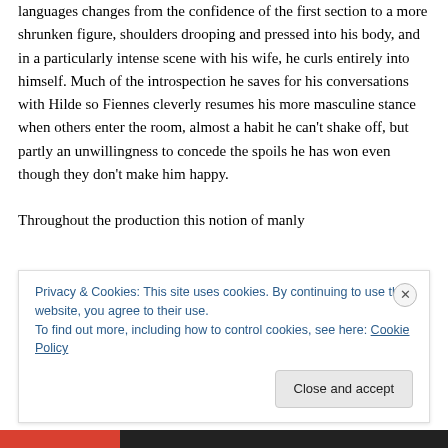languages changes from the confidence of the first section to a more shrunken figure, shoulders drooping and pressed into his body, and in a particularly intense scene with his wife, he curls entirely into himself. Much of the introspection he saves for his conversations with Hilde so Fiennes cleverly resumes his more masculine stance when others enter the room, almost a habit he can't shake off, but partly an unwillingness to concede the spoils he has won even though they don't make him happy.

Throughout the production this notion of manly
Privacy & Cookies: This site uses cookies. By continuing to use this website, you agree to their use.
To find out more, including how to control cookies, see here: Cookie Policy